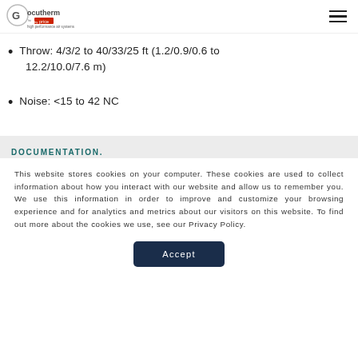Ocutherm by Price — high performance air systems
Throw: 4/3/2 to 40/33/25 ft (1.2/0.9/0.6 to 12.2/10.0/7.6 m)
Noise: <15 to 42 NC
DOCUMENTATION.
This website stores cookies on your computer. These cookies are used to collect information about how you interact with our website and allow us to remember you. We use this information in order to improve and customize your browsing experience and for analytics and metrics about our visitors on this website. To find out more about the cookies we use, see our Privacy Policy.
Accept